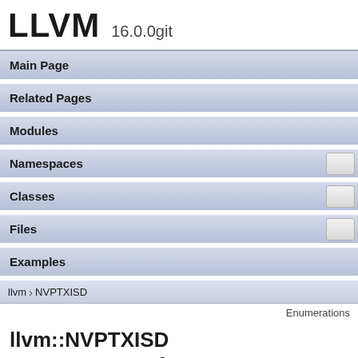LLVM 16.0.0git
Main Page
Related Pages
Modules
Namespaces
Classes
Files
Examples
llvm › NVPTXISD
Enumerations
llvm::NVPTXISD Namespace Reference